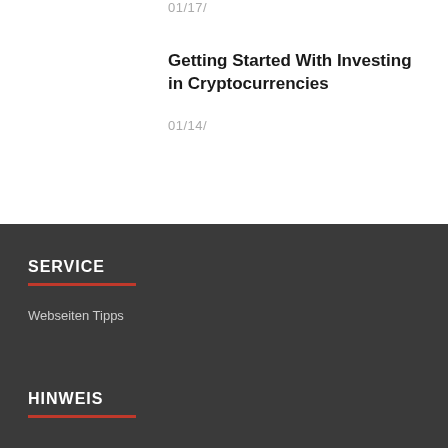01/17/
Getting Started With Investing in Cryptocurrencies
01/14/
SERVICE
Webseiten Tipps
HINWEIS